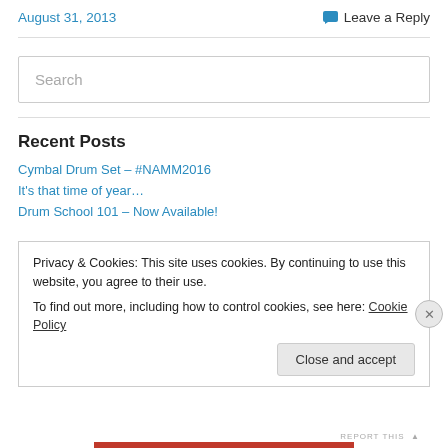August 31, 2013
Leave a Reply
[Figure (other): Search input box with placeholder text 'Search']
Recent Posts
Cymbal Drum Set – #NAMM2016
It's that time of year…
Drum School 101 – Now Available!
Privacy & Cookies: This site uses cookies. By continuing to use this website, you agree to their use.
To find out more, including how to control cookies, see here: Cookie Policy
Close and accept